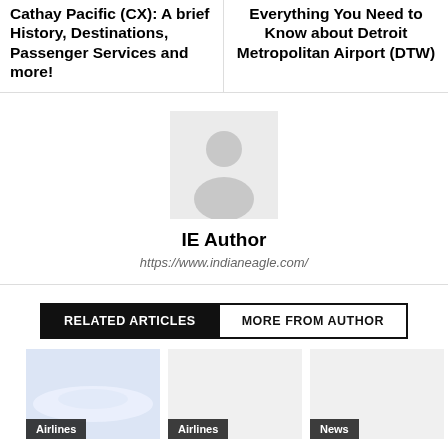Cathay Pacific (CX): A brief History, Destinations, Passenger Services and more!
Everything You Need to Know about Detroit Metropolitan Airport (DTW)
[Figure (photo): Avatar/profile placeholder image with grey silhouette on light grey background]
IE Author
https://www.indianeagle.com/
RELATED ARTICLES
MORE FROM AUTHOR
[Figure (photo): Light blue/white airplane image with Airlines badge]
[Figure (photo): Article thumbnail image with Airlines badge]
[Figure (photo): Article thumbnail image with News badge]